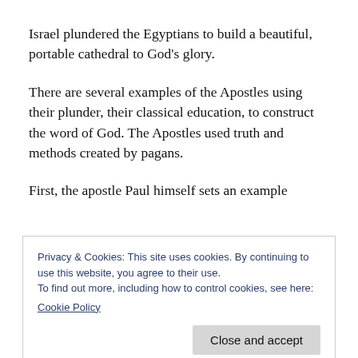Israel plundered the Egyptians to build a beautiful, portable cathedral to God's glory.
There are several examples of the Apostles using their plunder, their classical education, to construct the word of God. The Apostles used truth and methods created by pagans.
First, the apostle Paul himself sets an example
Privacy & Cookies: This site uses cookies. By continuing to use this website, you agree to their use.
To find out more, including how to control cookies, see here:
Cookie Policy
Close and accept
does not live in temples made by man, [25] nor is